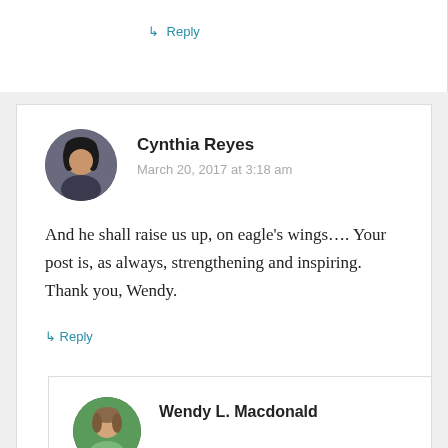↳ Reply
Cynthia Reyes
March 20, 2017 at 3:18 am
And he shall raise us up, on eagle's wings…. Your post is, as always, strengthening and inspiring. Thank you, Wendy.
↳ Reply
Wendy L. Macdonald